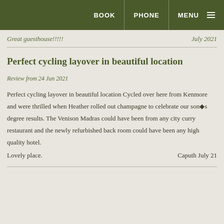BOOK | PHONE | MENU
Great guesthouse!!!!!   July 2021
Perfect cycling layover in beautiful location
Review from 24 Jun 2021
Perfect cycling layover in beautiful location Cycled over here from Kenmore and were thrilled when Heather rolled out champagne to celebrate our son�s degree results. The Venison Madras could have been from any city curry restaurant and the newly refurbished back room could have been any high quality hotel. Lovely place.   Caputh July 21